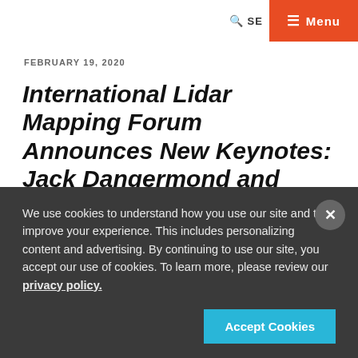SE Menu
FEBRUARY 19, 2020
International Lidar Mapping Forum Announces New Keynotes: Jack Dangermond and Geospatial Executives Panel
by Carla Lauter
We use cookies to understand how you use our site and to improve your experience. This includes personalizing content and advertising. By continuing to use our site, you accept our use of cookies. To learn more, please review our privacy policy.